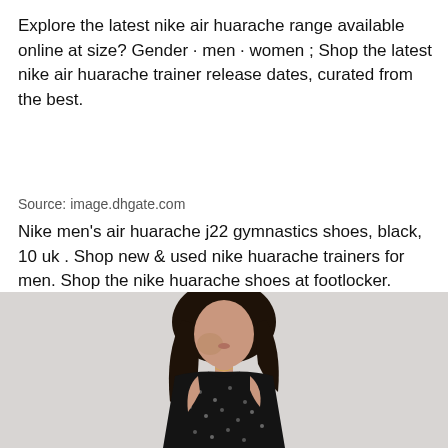Explore the latest nike air huarache range available online at size? Gender · men · women ; Shop the latest nike air huarache trainer release dates, curated from the best.
Source: image.dhgate.com
Nike men's air huarache j22 gymnastics shoes, black, 10 uk . Shop new & used nike huarache trainers for men. Shop the nike huarache shoes at footlocker.
[Figure (photo): A woman with long dark hair wearing a black sequined/lace dress, photographed against a light grey background, hand raised near her face]